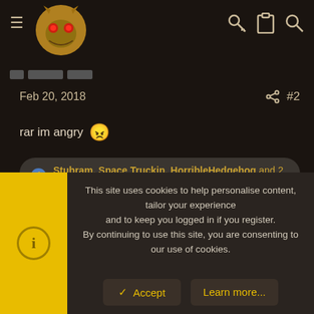Forum page header with logo, hamburger menu, and navigation icons (key, clipboard, search)
Feb 20, 2018  #2
rar im angry 😠
Stubram, Space Truckin, HorribleHedgehog and 2 others
Thorgor
Of The YAQ
This site uses cookies to help personalise content, tailor your experience and to keep you logged in if you register.
By continuing to use this site, you are consenting to our use of cookies.
✓ Accept
Learn more...